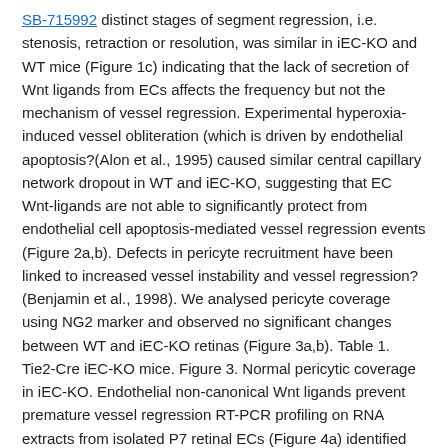SB-715992 distinct stages of segment regression, i.e. stenosis, retraction or resolution, was similar in iEC-KO and WT mice (Figure 1c) indicating that the lack of secretion of Wnt ligands from ECs affects the frequency but not the mechanism of vessel regression. Experimental hyperoxia-induced vessel obliteration (which is driven by endothelial apoptosis?(Alon et al., 1995) caused similar central capillary network dropout in WT and iEC-KO, suggesting that EC Wnt-ligands are not able to significantly protect from endothelial cell apoptosis-mediated vessel regression events (Figure 2a,b). Defects in pericyte recruitment have been linked to increased vessel instability and vessel regression?(Benjamin et al., 1998). We analysed pericyte coverage using NG2 marker and observed no significant changes between WT and iEC-KO retinas (Figure 3a,b). Table 1. Tie2-Cre iEC-KO mice. Figure 3. Normal pericytic coverage in iEC-KO. Endothelial non-canonical Wnt ligands prevent premature vessel regression RT-PCR profiling on RNA extracts from isolated P7 retinal ECs (Figure 4a) identified expression of Wnt ligands associated with canonical (and and and iEC-KO (Figure 4b,c), and nuclear Lef1 levels were even slightly increased (Figure 4d). Intercrossing the canonical Wnt signalling reporter mouse BAT-